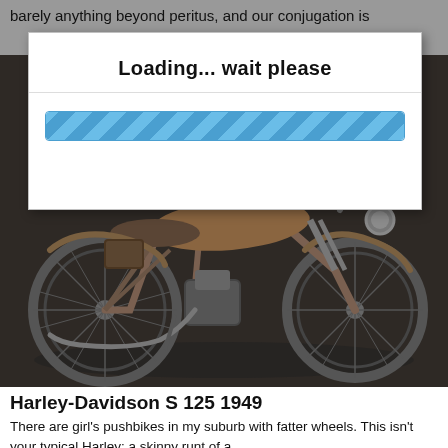barely anything beyond peritus, and our conjugation is
[Figure (screenshot): Loading dialog box with 'Loading... wait please' text and a blue striped progress bar]
[Figure (photo): Dark photograph of a vintage Harley-Davidson S 125 1949 motorcycle shown in profile view]
Harley-Davidson S 125 1949
There are girl's pushbikes in my suburb with fatter wheels. This isn't your typical Harley: a skinny runt of a